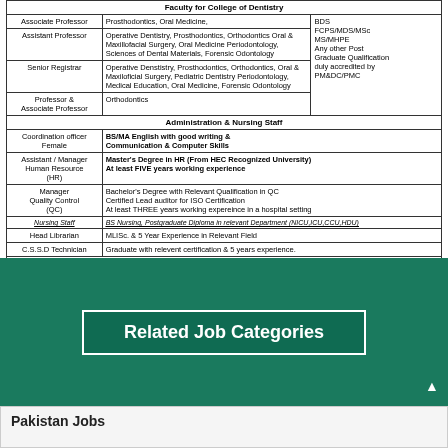| Position | Specialization/Qualification |
| --- | --- |
| Faculty for College of Dentistry |  |  |
| Associate Professor | Prosthodontics, Oral Medicine, | BDS FCPS/MDS/MSc MS/MHPE Any other Post Graduate Qualification duly accredited by PM&DC/PMC |
| Assistant Professor | Operative Dentistry, Prosthodontics, Orthodontics Oral & Maxillofacial Surgery, Oral Medicine Periodontology, Sciences of Dental Materials, Forensic Odontology |  |
| Senior Registrar | Operative Denstistry, Prosthodontics, Orthodontics, Oral & Maxiloficial Surgery, Pediatric Dentistry Periodontology, Medical Education, Oral Medicine, Forensic Odontology |  |
| Professor & Associate Professor | Orthodontics |  |
| Administration & Nursing Staff |  |  |
| Coordination officer Female | BS/MA English with good writing & Communication & Computer Skills |  |
| Assistant / Manager Human Resource (HR) | Master's Degree in HR (From HEC Recognized University) At least FIVE years working experience |  |
| Manager Quality Control (QC) | Bachelor's Degree with Relevant Qualification in QC Certified Lead auditor for ISO Certification At least THREE years working expereince in a hospital setting |  |
| Nursing Staff | BS Nursing, Postgraduate Diploma in relevant Department (NICU,ICU,CCU,HDU) |  |
| Head Librarian | MLISc. & 5 Year Experience in Relevant Field |  |
| C.S.S.D Technician | Graduate with relevent certification & 5 years experience. |  |
Interested Candidates may apply along with detailed CV, through email by7th, July 2021.
info@aimi.edu.pk | www.aimi.edu.pk | +92-992-406612 | +92-992-406613 | +92-992-406615 | +92-333-5031848 | +92-321-1948259 | Post Office Abbottabad Public School Islamkot Main Mansehra Road, Abbottabad
Related Job Categories
Pakistan Jobs